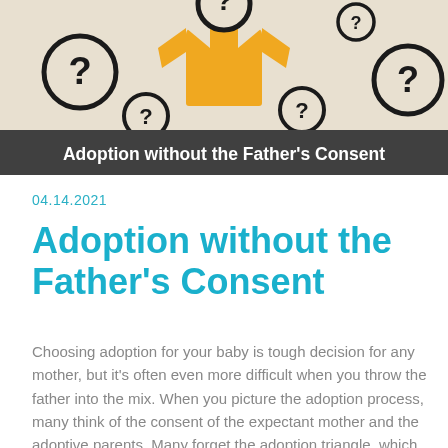[Figure (illustration): Hero image showing a yellow illustrated person/shirt figure surrounded by question mark circle icons on a light beige background, with a dark gray banner at the bottom reading 'Adoption without the Father's Consent' in bold white text.]
04.14.2021
Adoption without the Father's Consent
Choosing adoption for your baby is tough decision for any mother, but it's often even more difficult when you throw the father into the mix. When you picture the adoption process, many think of the consent of the expectant mother and the adoptive parents. Many forget the adoption triangle, which involves the birth father, birth mother, and the adoptive parents.